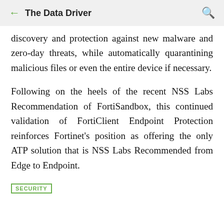← The Data Driver 🔍
discovery and protection against new malware and zero-day threats, while automatically quarantining malicious files or even the entire device if necessary.
Following on the heels of the recent NSS Labs Recommendation of FortiSandbox, this continued validation of FortiClient Endpoint Protection reinforces Fortinet's position as offering the only ATP solution that is NSS Labs Recommended from Edge to Endpoint.
SECURITY